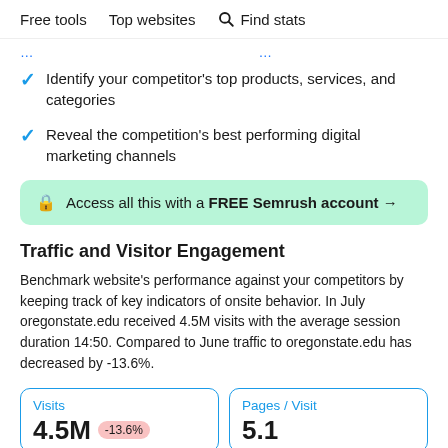Free tools   Top websites   Find stats
…[partially visible blue link text]…
Identify your competitor's top products, services, and categories
Reveal the competition's best performing digital marketing channels
🔒 Access all this with a FREE Semrush account →
Traffic and Visitor Engagement
Benchmark website's performance against your competitors by keeping track of key indicators of onsite behavior. In July oregonstate.edu received 4.5M visits with the average session duration 14:50. Compared to June traffic to oregonstate.edu has decreased by -13.6%.
| Visits | Pages / Visit |
| --- | --- |
| 4.5M  -13.6% | 5.1 |